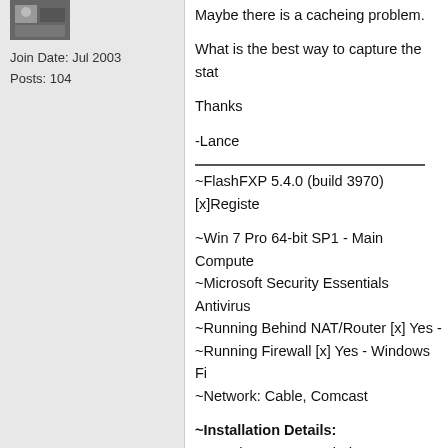[Figure (photo): Small user avatar photo thumbnail]
Join Date: Jul 2003
Posts: 104
Maybe there is a cacheing problem.
What is the best way to capture the stat
Thanks
-Lance
~FlashFXP 5.4.0 (build 3970) [x]Registe
~Win 7 Pro 64-bit SP1 - Main Compute
~Microsoft Security Essentials Antivirus
~Running Behind NAT/Router [x] Yes -
~Running Firewall [x] Yes - Windows Fi
~Network: Cable, Comcast
~Installation Details:
Operating System: Windows 7 x64 Serv
FlashFXP version: 5.4.0 (build 3970)
Operating System: Windows 7 x64 Son